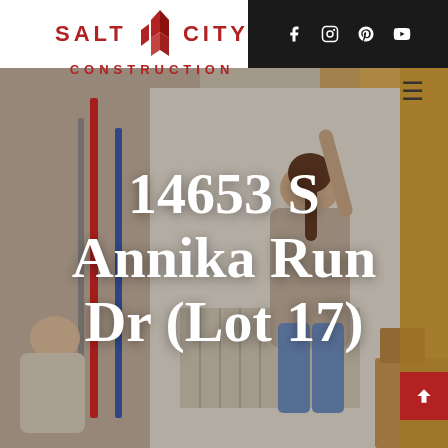[Figure (logo): Salt City Construction logo with red geometric building icon and red text]
[Figure (photo): Hero image of people doing interior renovation/construction work, woman reaching up, man working in background, mops and painting supplies visible]
14653 S Annika Run Dr (Lot 17)